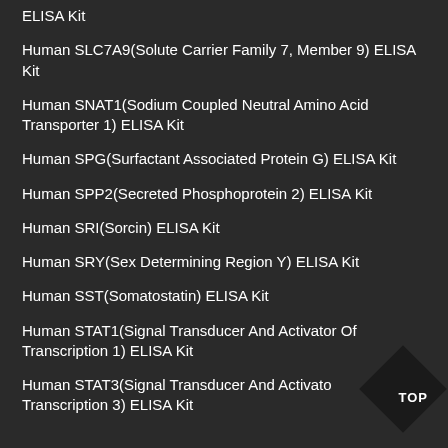ELISA Kit
Human SLC7A9(Solute Carrier Family 7, Member 9) ELISA Kit
Human SNAT1(Sodium Coupled Neutral Amino Acid Transporter 1) ELISA Kit
Human SPG(Surfactant Associated Protein G) ELISA Kit
Human SPP2(Secreted Phosphoprotein 2) ELISA Kit
Human SRI(Sorcin) ELISA Kit
Human SRY(Sex Determining Region Y) ELISA Kit
Human SST(Somatostatin) ELISA Kit
Human STAT1(Signal Transducer And Activator Of Transcription 1) ELISA Kit
Human STAT3(Signal Transducer And Activator Of Transcription 3) ELISA Kit